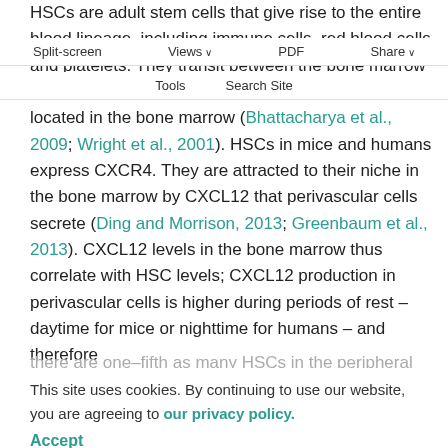HSCs are adult stem cells that give rise to the entire blood lineage, including immune cells, red blood cells and platelets. They transit between the bone marrow and peripheral blood vessels, although the majority is located in the bone marrow (Bhattacharya et al., 2009; Wright et al., 2001). HSCs in mice and humans express CXCR4. They are attracted to their niche in the bone marrow by CXCL12 that perivascular cells secrete (Ding and Morrison, 2013; Greenbaum et al., 2013). CXCL12 levels in the bone marrow thus correlate with HSC levels; CXCL12 production in perivascular cells is higher during periods of rest – daytime for mice or nighttime for humans – and therefore
Split-screen  Views  PDF  Share  Tools  Search Site
there are one-fifth as many HSCs in the peripheral blood during periods of rest compared with periods of high activity. (Mendez-Ferrer et al., 2008).
This site uses cookies. By continuing to use our website, you are agreeing to our privacy policy. Accept
POSTERIOR LATERAL LINE PRIMORDIUM (PLLP) MIGRATION